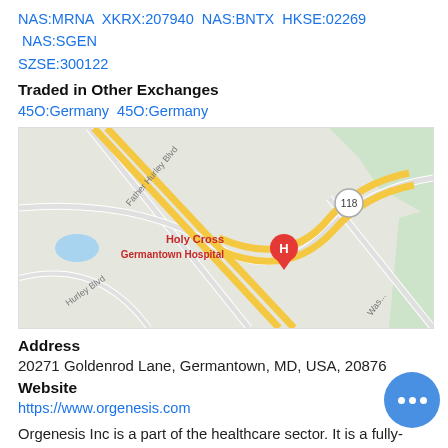NAS:MRNA XKRX:207940 NAS:BNTX HKSE:02269 NAS:SGEN SZSE:300122
Traded in Other Exchanges
45O:Germany 45O:Germany
[Figure (map): Google Maps view showing Holy Cross Germantown Hospital location near Father Hurley Blvd and route 118 in Germantown, MD]
Address
20271 Goldenrod Lane, Germantown, MD, USA, 20876
Website
https://www.orgenesis.com
Orgenesis Inc is a part of the healthcare sector. It is a fully-integrated biopharmaceutical company focused on developing trans-differentiation technologies for diabetes and vertically integrating manufacturing that can optimize its abilities to scale up its technologies for clinical trials and eventual